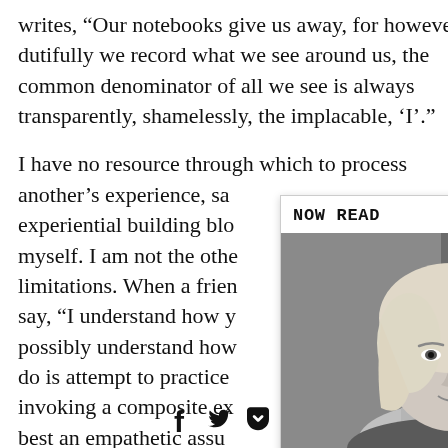writes, “Our notebooks give us away, for however dutifully we record what we see around us, the common denominator of all we see is always transparently, shamelessly, the implacable, ‘I’.”
I have no resource through which to process another’s experience, sa… experiential building blo… myself. I am not the othe… limitations. When a frien… say, “I understand how y… possibly understand how… do is attempt to practice … invoking a composite ex… best an empathetic assu… intentioned. At worst, it can come across as
[Figure (other): NOW READ popup box with a black-and-white portrait photo of a woman with short blonde hair, and caption 'Little Atoms 633 - Eimear McBride's Strange Hotel'. Has an [X] close button.]
[Figure (other): Social media icons bar at the bottom: Facebook (f), Twitter (bird), Pocket (checkmark in circle)]